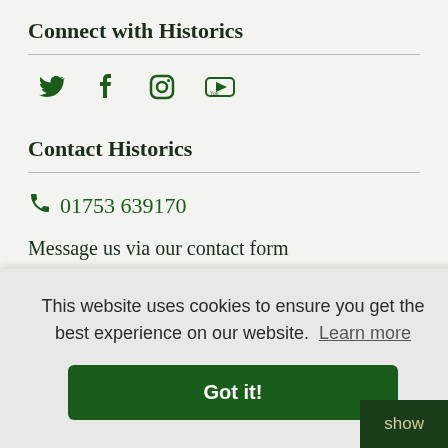Connect with Historics
[Figure (illustration): Social media icons: Twitter, Facebook, Instagram, YouTube in dark green]
Contact Historics
01753 639170
Message us via our contact form
Classic & Sportscar Auctioneers
This website uses cookies to ensure you get the best experience on our website. Learn more
Got it!
show